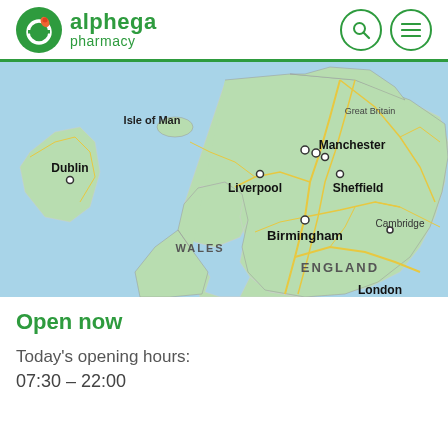[Figure (logo): Alphega Pharmacy logo: green circle with stylized leaf/person icon, text 'alphega pharmacy' in green]
[Figure (map): Google Maps view of England and Wales showing cities: Isle of Man, Great Britain label, Manchester, Liverpool, Sheffield, Dublin, Birmingham, Cambridge, WALES, ENGLAND, London labels with road network in yellow/orange on green land and blue sea]
Open now
Today's opening hours:
07:30 – 22:00